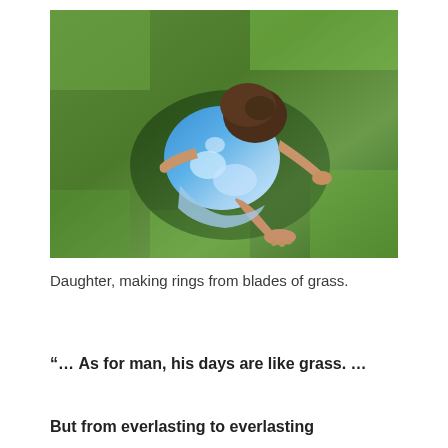[Figure (photo): Aerial view of a young girl with dark hair sitting on green grass, wearing a blue tie-dye sleeveless top, barefoot, appearing to make rings from blades of grass.]
Daughter, making rings from blades of grass.
“… As for man, his days are like grass. …
But from everlasting to everlasting